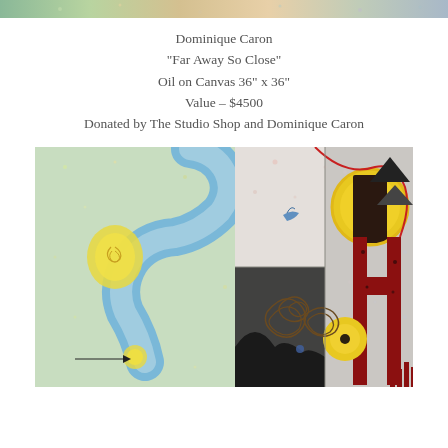[Figure (photo): Top strip of an artwork painting, cropped horizontal band]
Dominique Caron
“Far Away So Close”
Oil on Canvas 36” x 36”
Value – $4500
Donated by The Studio Shop and Dominique Caron
[Figure (photo): Painting by Dominique Caron titled 'Far Away So Close', oil on canvas. The painting shows two juxtaposed scenes: left side with a blue serpentine river/road shape on a green starry background with a yellow glowing blob in the center; right side with a grey/white abstract scene featuring a red cross-shaped figure, a yellow sun with dark center, spiral forms, and geometric triangles.]